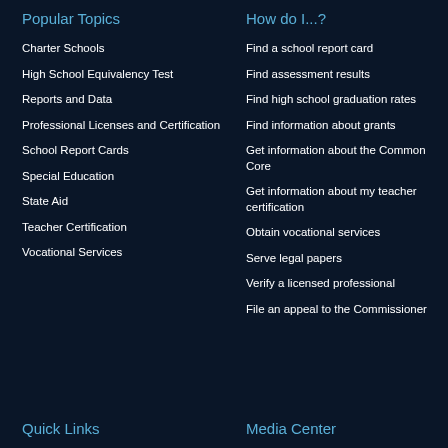Popular Topics
Charter Schools
High School Equivalency Test
Reports and Data
Professional Licenses and Certification
School Report Cards
Special Education
State Aid
Teacher Certification
Vocational Services
How do I...?
Find a school report card
Find assessment results
Find high school graduation rates
Find information about grants
Get information about the Common Core
Get information about my teacher certification
Obtain vocational services
Serve legal papers
Verify a licensed professional
File an appeal to the Commissioner
Quick Links
Media Center